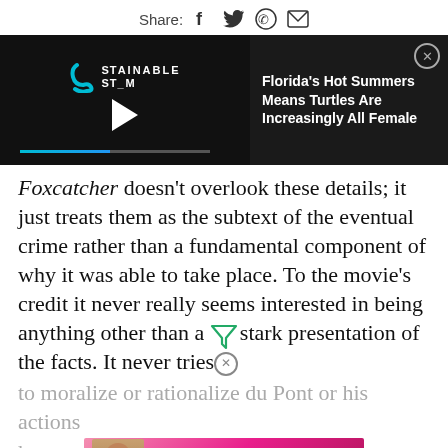Share: [facebook] [twitter] [whatsapp] [email]
[Figure (screenshot): Video player showing Sustainable Storm logo with play button and progress bar on left; on right, white text reading 'Florida's Hot Summers Means Turtles Are Increasingly All Female' with close button]
Foxcatcher doesn't overlook these details; it just treats them as the subtext of the eventual crime rather than a fundamental component of why it was able to take place. To the movie's credit it never really seems interested in being anything other than a stark presentation of the facts. It never tries to moralize or rationalize du Pont or his actions... happening... effective and unsettling. But this kind of
[Figure (screenshot): Victoria's Secret advertisement banner showing model, VS logo, 'SHOP THE COLLECTION' text, and 'SHOP NOW' button]